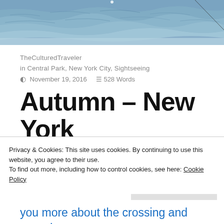[Figure (photo): Aerial or boat-level view of choppy ocean/water surface, blue-grey tones]
TheCulturedTraveler
in Central Park, New York City, Sightseeing
November 19, 2016   528 Words
Autumn – New York
Greetings from New York City on a lazy weekend afternoon. The last time you heard from me, we
Privacy & Cookies: This site uses cookies. By continuing to use this website, you agree to their use.
To find out more, including how to control cookies, see here: Cookie Policy
Close and accept
you more about the crossing and our adventures